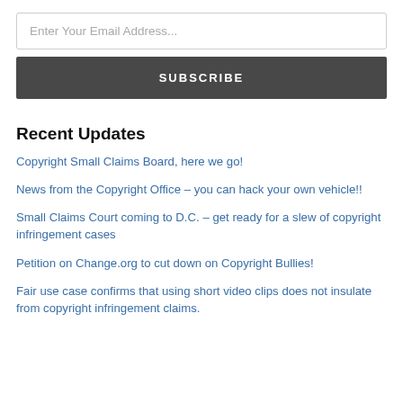Enter Your Email Address...
SUBSCRIBE
Recent Updates
Copyright Small Claims Board, here we go!
News from the Copyright Office – you can hack your own vehicle!!
Small Claims Court coming to D.C. – get ready for a slew of copyright infringement cases
Petition on Change.org to cut down on Copyright Bullies!
Fair use case confirms that using short video clips does not insulate from copyright infringement claims.